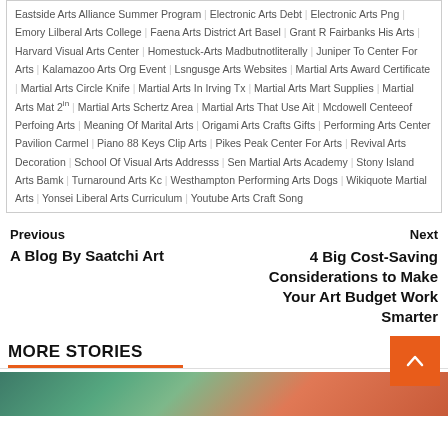Eastside Arts Alliance Summer Program | Electronic Arts Debt | Electronic Arts Png | Emory Lilberal Arts College | Faena Arts District Art Basel | Grant R Fairbanks His Arts | Harvard Visual Arts Center | Homestuck-Arts Madbutnotliterally | Juniper To Center For Arts | Kalamazoo Arts Org Event | Lsngusge Arts Websites | Martial Arts Award Certificate | Martial Arts Circle Knife | Martial Arts In Irving Tx | Martial Arts Mart Supplies | Martial Arts Mat 2in | Martial Arts Schertz Area | Martial Arts That Use Ait | Mcdowell Centeeof Perfoing Arts | Meaning Of Marital Arts | Origami Arts Crafts Gifts | Performing Arts Center Pavilion Carmel | Piano 88 Keys Clip Arts | Pikes Peak Center For Arts | Revival Arts Decoration | School Of Visual Arts Addresss | Sen Martial Arts Academy | Stony Island Arts Bamk | Turnaround Arts Kc | Westhampton Performing Arts Dogs | Wikiquote Martial Arts | Yonsei Liberal Arts Curriculum | Youtube Arts Craft Song
Previous
Next
A Blog By Saatchi Art
4 Big Cost-Saving Considerations to Make Your Art Budget Work Smarter
MORE STORIES
[Figure (photo): Colorful artwork image at the bottom of the page]